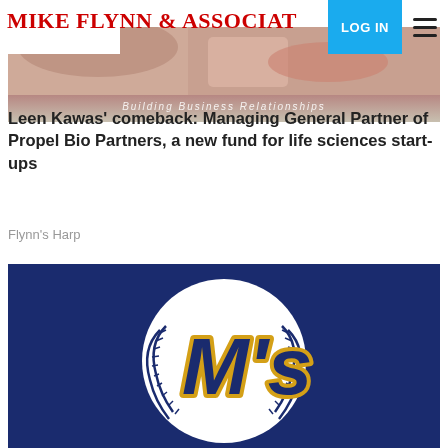MIKE FLYNN & ASSOCIATES — Building Business Relationships
[Figure (photo): Partial hero image showing a lab/science scene with a pinkish/red background and the tagline 'Building Business Relationships']
Leen Kawas' comeback: Managing General Partner of Propel Bio Partners, a new fund for life sciences start-ups
Flynn's Harp
[Figure (illustration): Seattle Mariners baseball logo: navy blue background with a white baseball showing the stylized 'M's' lettering in dark blue with gold outline]